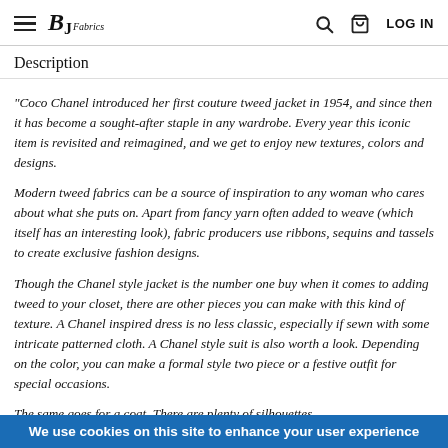BJ Fabrics — LOG IN
Description
"Coco Chanel introduced her first couture tweed jacket in 1954, and since then it has become a sought-after staple in any wardrobe. Every year this iconic item is revisited and reimagined, and we get to enjoy new textures, colors and designs.
Modern tweed fabrics can be a source of inspiration to any woman who cares about what she puts on. Apart from fancy yarn often added to weave (which itself has an interesting look), fabric producers use ribbons, sequins and tassels to create exclusive fashion designs.
Though the Chanel style jacket is the number one buy when it comes to adding tweed to your closet, there are other pieces you can make with this kind of texture. A Chanel inspired dress is no less classic, especially if sewn with some intricate patterned cloth. A Chanel style suit is also worth a look. Depending on the color, you can make a formal style two piece or a festive outfit for special occasions.
The same goes for a coat. There are plenty of silhouettes
We use cookies on this site to enhance your user experience